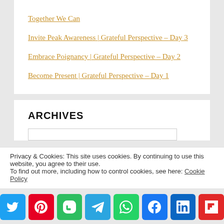Together We Can
Invite Peak Awareness | Grateful Perspective – Day 3
Embrace Poignancy | Grateful Perspective – Day 2
Become Present | Grateful Perspective – Day 1
ARCHIVES
Privacy & Cookies: This site uses cookies. By continuing to use this website, you agree to their use. To find out more, including how to control cookies, see here: Cookie Policy